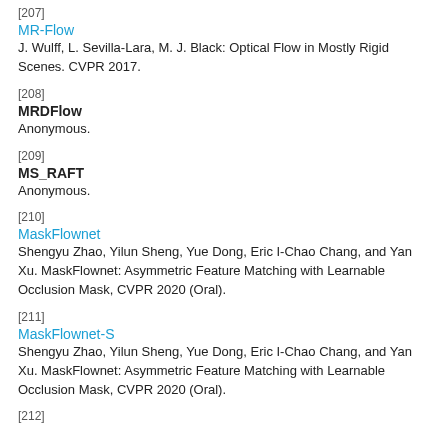[207]
MR-Flow
J. Wulff, L. Sevilla-Lara, M. J. Black: Optical Flow in Mostly Rigid Scenes. CVPR 2017.
[208]
MRDFlow
Anonymous.
[209]
MS_RAFT
Anonymous.
[210]
MaskFlownet
Shengyu Zhao, Yilun Sheng, Yue Dong, Eric I-Chao Chang, and Yan Xu. MaskFlownet: Asymmetric Feature Matching with Learnable Occlusion Mask, CVPR 2020 (Oral).
[211]
MaskFlownet-S
Shengyu Zhao, Yilun Sheng, Yue Dong, Eric I-Chao Chang, and Yan Xu. MaskFlownet: Asymmetric Feature Matching with Learnable Occlusion Mask, CVPR 2020 (Oral).
[212]